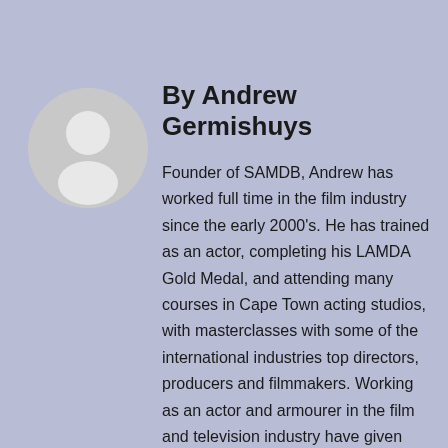[Figure (illustration): Circular avatar placeholder icon showing a generic person silhouette in white on a light grey background]
By Andrew Germishuys
Founder of SAMDB, Andrew has worked full time in the film industry since the early 2000's. He has trained as an actor, completing his LAMDA Gold Medal, and attending many courses in Cape Town acting studios, with masterclasses with some of the international industries top directors, producers and filmmakers. Working as an actor and armourer in the film and television industry have given Andrew a great balance of skills across the board when it comes to the